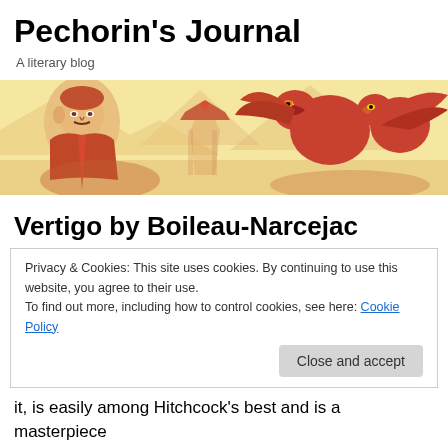Pechorin's Journal
A literary blog
[Figure (illustration): Reddish-toned banner illustration featuring a portrait of a man in historical military uniform on the left, a gazebo structure in the center background, and fantastical creatures including a winged beast and eagle on the right, all against a light yellow background.]
Vertigo by Boileau-Narcejac
Privacy & Cookies: This site uses cookies. By continuing to use this website, you agree to their use.
To find out more, including how to control cookies, see here: Cookie Policy
Close and accept
it, is easily among Hitchcock's best and is a masterpiece